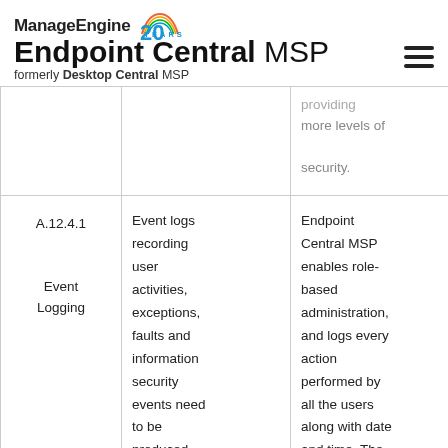ManageEngine 20 YEARS — Endpoint Central MSP, formerly Desktop Central MSP
|  |  | providing more levels of security. |
| A.12.4.1

Event Logging | Event logs recording user activities, exceptions, faults and information security events need to be produced, | Endpoint Central MSP enables role-based administration, and logs every action performed by all the users along with date and time. The |